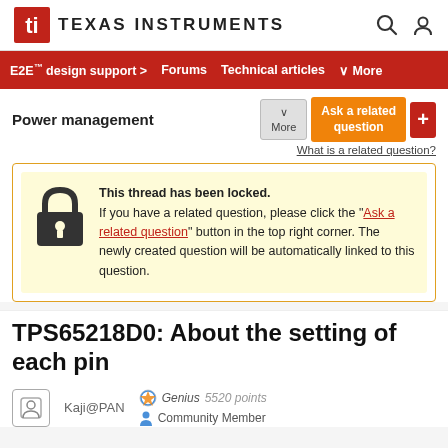Texas Instruments
E2E™ design support > | Forums | Technical articles | More
Power management
This thread has been locked. If you have a related question, please click the "Ask a related question" button in the top right corner. The newly created question will be automatically linked to this question.
TPS65218D0: About the setting of each pin
Kaji@PAN | Genius 5520 points | Community Member